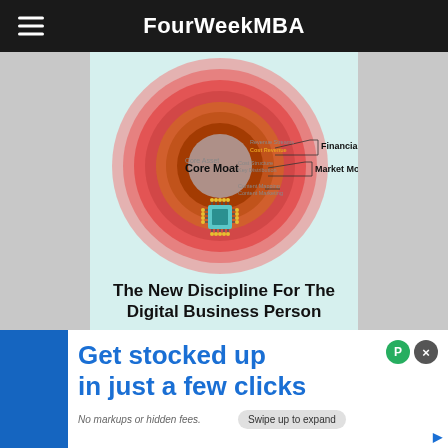FourWeekMBA
[Figure (infographic): Concentric circles diagram showing three moat levels: Core Moat (innermost, gray), Market Moat (middle, orange/red), Financial Moat (outermost, pink/red). Labels point to rings: Revenue Streams/Cost Revenue at Financial Moat; Cost Structure/Key Distribution at Market Moat level; Content Mapping/Content Marketing at Core Moat. A microchip icon with connectors sits at the center.]
The New Discipline For The Digital Business Person
A Business Series By
[Figure (infographic): Advertisement banner: 'Get stocked up in just a few clicks. No markups or hidden fees.' with a 'Swipe up to expand' button on a blue background with white content area.]